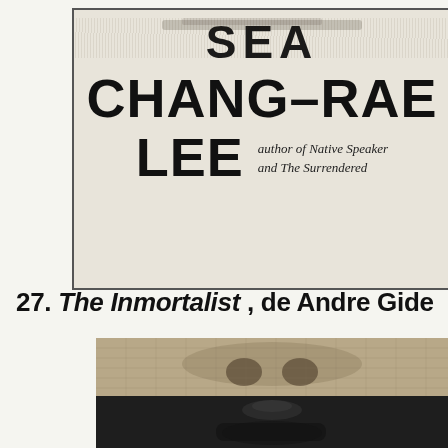[Figure (illustration): Book cover image with bold text: SEA / CHANG-RAE / LEE, author of Native Speaker and The Surrendered. Black typography on cream/off-white background inside a bordered box.]
27. The Inmortalist , de Andre Gide
[Figure (photo): Black and white photo collage: top half shows a skull/skeletal face close-up with textured mesh overlay; bottom half shows a close-up of a person's nose and mouth in dark tones.]